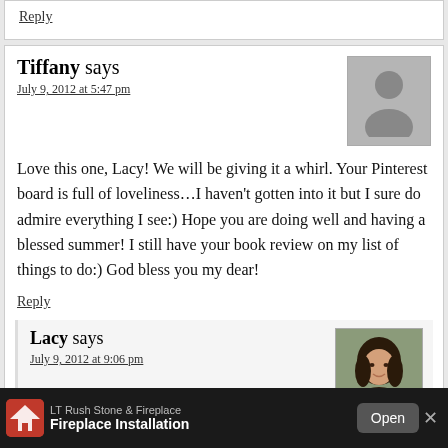Reply
Tiffany says
July 9, 2012 at 5:47 pm
[Figure (illustration): Gray placeholder avatar silhouette]
Love this one, Lacy! We will be giving it a whirl. Your Pinterest board is full of loveliness…I haven't gotten into it but I sure do admire everything I see:) Hope you are doing well and having a blessed summer! I still have your book review on my list of things to do:) God bless you my dear!
Reply
Lacy says
July 9, 2012 at 9:06 pm
[Figure (photo): Photo of Lacy, a woman with dark hair]
You too, Tiffany! I have Pinned plenty of your stuff, and need to pin more of it. 🙂 Can't wait to see what your
[Figure (infographic): Advertisement bar: LT Rush Stone & Fireplace - Fireplace Installation - Open button]